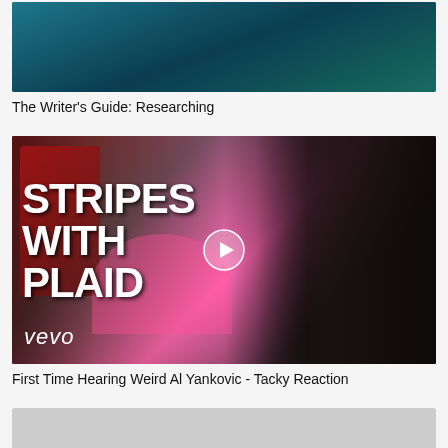[Figure (screenshot): Top video thumbnail showing a dark teal/blue-green abstract image, partially cropped]
The Writer's Guide: Researching
[Figure (screenshot): Video thumbnail for 'Stripes with Plaid' on Vevo, featuring Weird Al Yankovic in a pink shirt with curly hair and another person in a black cap looking thoughtful, white text reads STRIPES WITH PLAID, vevo logo bottom left, play button overlay in center]
First Time Hearing Weird Al Yankovic - Tacky Reaction
[Figure (screenshot): Bottom video thumbnail, partially visible, showing a light grey/blank placeholder image]